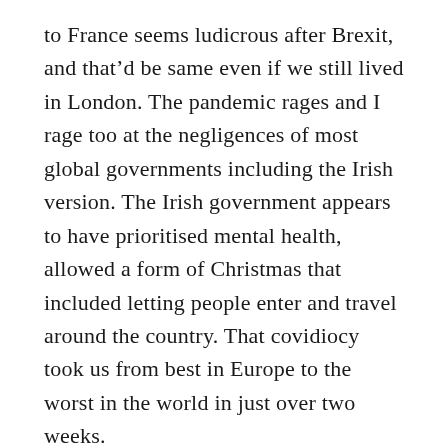to France seems ludicrous after Brexit, and that'd be same even if we still lived in London. The pandemic rages and I rage too at the negligences of most global governments including the Irish version. The Irish government appears to have prioritised mental health, allowed a form of Christmas that included letting people enter and travel around the country. That covidiocy took us from best in Europe to the worst in the world in just over two weeks.
The idea that elected people should be able to